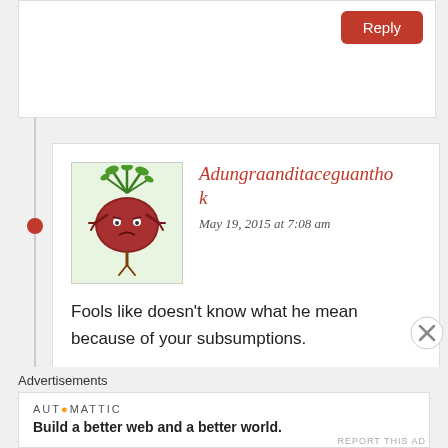[Figure (illustration): Reply button (red/crimson rounded rectangle) at top right of partially visible comment box]
[Figure (illustration): Cartoon illustration of an anthropomorphic turnip/beet character with green leaves on top, reddish-brown round body, and small limbs, on light green background]
Adungraanditaceguanthok
May 19, 2015 at 7:08 am
Fools like doesn't know what he mean because of your subsumptions.
Like
Reply
Advertisements
AUTOMATTIC
Build a better web and a better world.